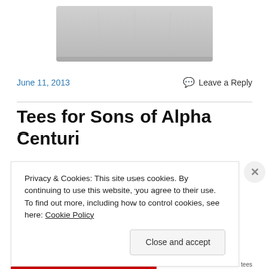[Figure (photo): Bottom portion of a gray t-shirt product photo on white background]
June 11, 2013
Leave a Reply
Tees for Sons of Alpha Centuri
Privacy & Cookies: This site uses cookies. By continuing to use this website, you agree to their use.
To find out more, including how to control cookies, see here: Cookie Policy
Close and accept